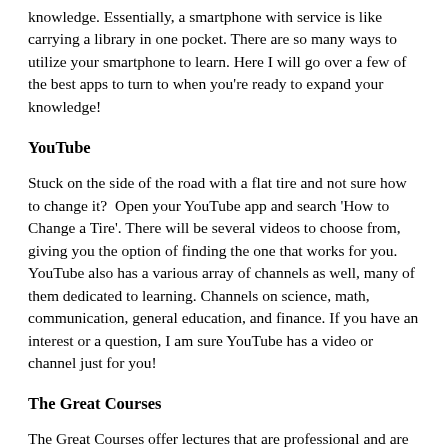knowledge. Essentially, a smartphone with service is like carrying a library in one pocket. There are so many ways to utilize your smartphone to learn. Here I will go over a few of the best apps to turn to when you're ready to expand your knowledge!
YouTube
Stuck on the side of the road with a flat tire and not sure how to change it?  Open your YouTube app and search 'How to Change a Tire'. There will be several videos to choose from, giving you the option of finding the one that works for you. YouTube also has a various array of channels as well, many of them dedicated to learning. Channels on science, math, communication, general education, and finance. If you have an interest or a question, I am sure YouTube has a video or channel just for you!
The Great Courses
The Great Courses offer lectures that are professional and are given by expert professors. It's like a having a college textbook in your pocket! Lectures are given on a wide variety of topics including literature, history, business, music, and more. The app itself is free and allows you to download or steam courses, although you may have to pay for individual courses. Considering the cost of a college course, The Great Courses may be worth a